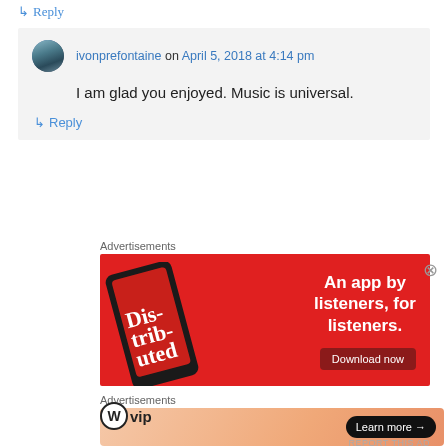↳ Reply
ivonprefontaine on April 5, 2018 at 4:14 pm
I am glad you enjoyed. Music is universal.
↳ Reply
Advertisements
[Figure (photo): Red advertisement banner for a music app with phone mockup showing 'Dis-trib-uted' text and 'An app by listeners, for listeners.' with Download now button]
Advertisements
[Figure (photo): WordPress VIP advertisement banner with gradient background and Learn more button]